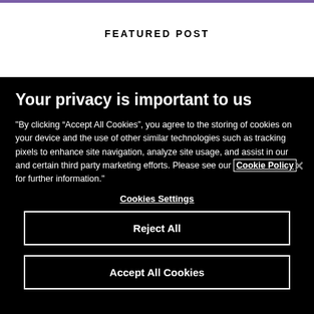FEATURED POST
Your privacy is important to us
"By clicking “Accept All Cookies”, you agree to the storing of cookies on your device and the use of other similar technologies such as tracking pixels to enhance site navigation, analyze site usage, and assist in our and certain third party marketing efforts. Please see our Cookie Policy for further information."
Cookies Settings
Reject All
Accept All Cookies